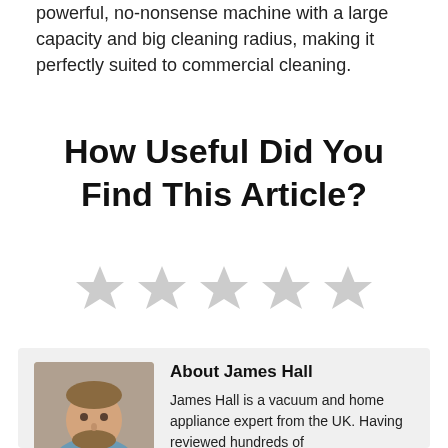powerful, no-nonsense machine with a large capacity and big cleaning radius, making it perfectly suited to commercial cleaning.
How Useful Did You Find This Article?
[Figure (other): Five empty/unrated grey star icons for article rating]
[Figure (photo): Headshot photo of James Hall, a bearded man]
About James Hall
James Hall is a vacuum and home appliance expert from the UK. Having reviewed hundreds of appliances for over 10 years, James is experienced at helping you choose the right model for your home.